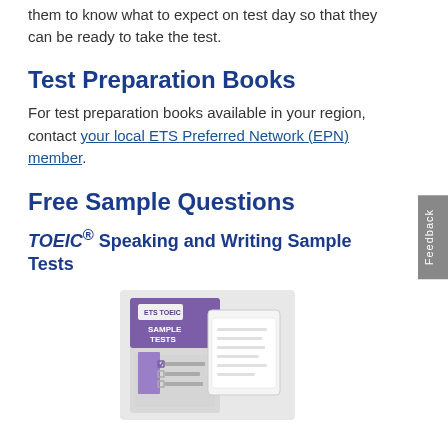them to know what to expect on test day so that they can be ready to take the test.
Test Preparation Books
For test preparation books available in your region, contact your local ETS Preferred Network (EPN) member.
Free Sample Questions
TOEIC® Speaking and Writing Sample Tests
[Figure (photo): Cover image of the ETS TOEIC Sample Tests booklet showing a purple cover with a checklist graphic]